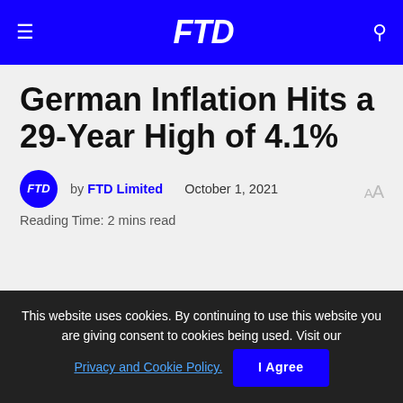FTD
German Inflation Hits a 29-Year High of 4.1%
by FTD Limited   October 1, 2021
Reading Time: 2 mins read
This website uses cookies. By continuing to use this website you are giving consent to cookies being used. Visit our Privacy and Cookie Policy.  I Agree